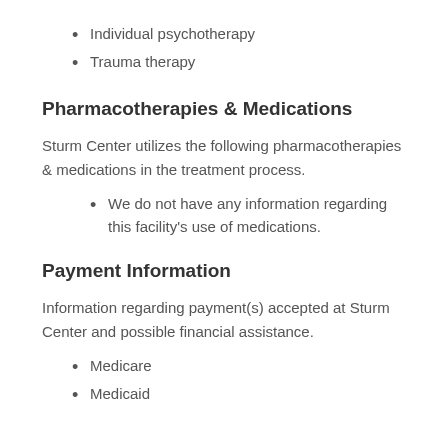Individual psychotherapy
Trauma therapy
Pharmacotherapies & Medications
Sturm Center utilizes the following pharmacotherapies & medications in the treatment process.
We do not have any information regarding this facility's use of medications.
Payment Information
Information regarding payment(s) accepted at Sturm Center and possible financial assistance.
Medicare
Medicaid